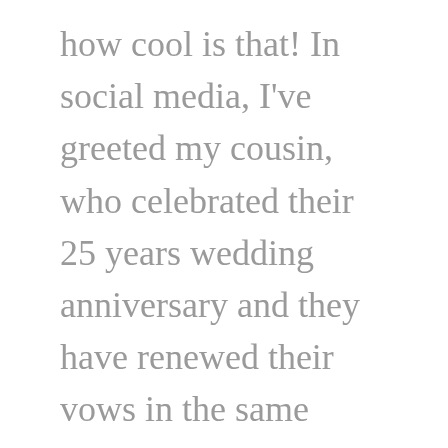how cool is that! In social media, I've greeted my cousin, who celebrated their 25 years wedding anniversary and they have renewed their vows in the same church where they were married. It was nice to see them, together with their 6 children and they were all lovely in their white dresses and suits. My friend from Iran is now back